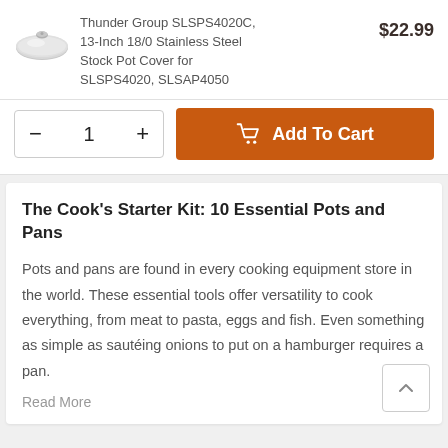[Figure (photo): Small circular stainless steel pot cover/lid product image]
Thunder Group SLSPS4020C, 13-Inch 18/0 Stainless Steel Stock Pot Cover for SLSPS4020, SLSAP4050
$22.99
- 1 +
Add To Cart
The Cook’s Starter Kit: 10 Essential Pots and Pans
Pots and pans are found in every cooking equipment store in the world. These essential tools offer versatility to cook everything, from meat to pasta, eggs and fish. Even something as simple as sautéing onions to put on a hamburger requires a pan.
Read More